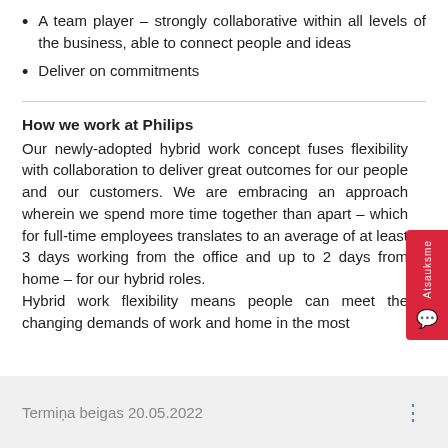A team player – strongly collaborative within all levels of the business, able to connect people and ideas
Deliver on commitments
How we work at Philips
Our newly-adopted hybrid work concept fuses flexibility with collaboration to deliver great outcomes for our people and our customers. We are embracing an approach wherein we spend more time together than apart – which for full-time employees translates to an average of at least 3 days working from the office and up to 2 days from home – for our hybrid roles.
Hybrid work flexibility means people can meet the changing demands of work and home in the most
Termiņa beigas 20.05.2022